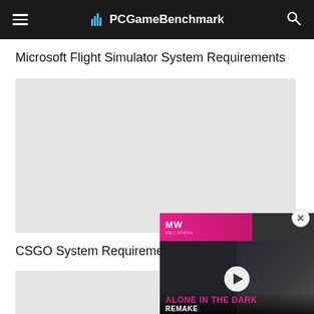PCGameBenchmark
Microsoft Flight Simulator System Requirements
[Figure (other): Advertisement placeholder gray box]
CSGO System Requirements
[Figure (other): Advertisement placeholder gray box]
[Figure (other): Video overlay showing 'Alone in the Dark Remake' with play button, MW logo, pink and dark background]